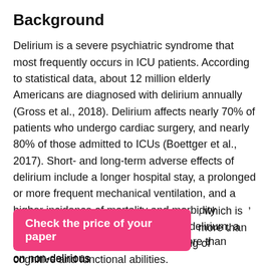Background
Delirium is a severe psychiatric syndrome that most frequently occurs in ICU patients. According to statistical data, about 12 million elderly Americans are diagnosed with delirium annually (Gross et al., 2018). Delirium affects nearly 70% of patients who undergo cardiac surgery, and nearly 80% of those admitted to ICUs (Boettger et al., 2017). Short- and long-term adverse effects of delirium include a longer hospital stay, a prolonged or more frequent mechanical ventilation, and a higher incidence of mortality and morbidity (Boettger et al., 2017). As a result of delirium, a person may experience the weakening of cognitive and functional abilities.
The cost of hospitalization in patients with delirium is rather high. According to different sources, the [text continues below banner] which is more than [text continues] on non-delirious
[Figure (other): Pink/magenta call-to-action button reading 'Check the price of your paper']